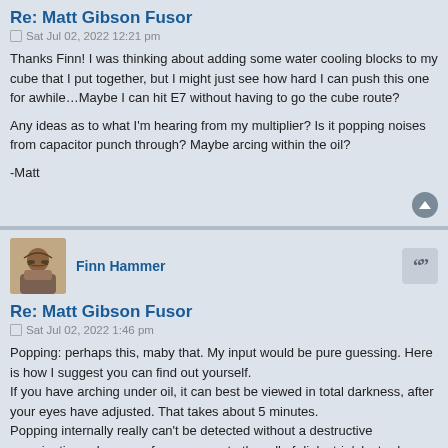Re: Matt Gibson Fusor
Sat Jul 02, 2022 12:21 pm
Thanks Finn! I was thinking about adding some water cooling blocks to my cube that I put together, but I might just see how hard I can push this one for awhile…Maybe I can hit E7 without having to go the cube route?

Any ideas as to what I'm hearing from my multiplier? Is it popping noises from capacitor punch through? Maybe arcing within the oil?

-Matt
Finn Hammer
Re: Matt Gibson Fusor
Sat Jul 02, 2022 1:46 pm
Popping: perhaps this, maby that. My input would be pure guessing. Here is how I suggest you can find out yourself.
If you have arching under oil, it can best be viewed in total darkness, after your eyes have adjusted. That takes about 5 minutes.
Popping internally really can't be detected without a destructive examination, where you force access to the roll of dielectric/electrode inside the capacitor.